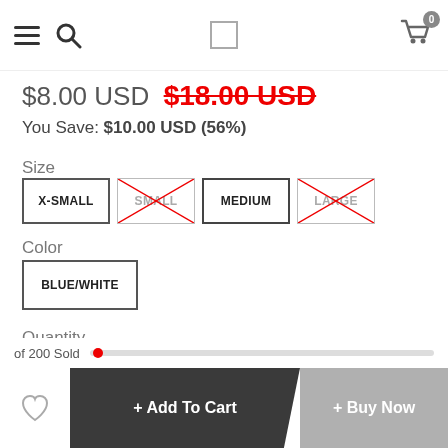[Figure (screenshot): Top navigation bar with hamburger menu icon, search icon, checkbox/square in center, and shopping cart icon with 0 badge on right]
$8.00 USD $18.00 USD (strikethrough red)
You Save: $10.00 USD (56%)
Size
Size options: X-SMALL (selected), SMALL (unavailable/crossed), MEDIUM (available), LARGE (unavailable/crossed)
Color
BLUE/WHITE
Quantity
Quantity control: - 1 +
of 200 Sold
+ Add To Cart
+ Buy Now